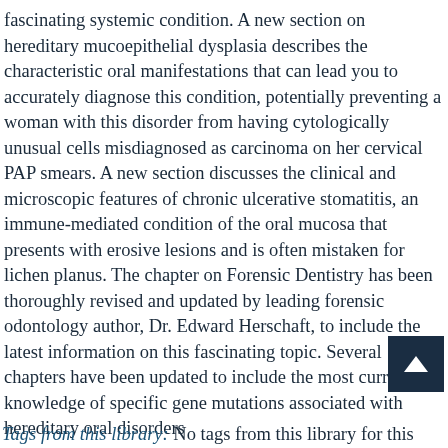fascinating systemic condition. A new section on hereditary mucoepithelial dysplasia describes the characteristic oral manifestations that can lead you to accurately diagnose this condition, potentially preventing a woman with this disorder from having cytologically unusual cells misdiagnosed as carcinoma on her cervical PAP smears. A new section discusses the clinical and microscopic features of chronic ulcerative stomatitis, an immune-mediated condition of the oral mucosa that presents with erosive lesions and is often mistaken for lichen planus. The chapter on Forensic Dentistry has been thoroughly revised and updated by leading forensic odontology author, Dr. Edward Herschaft, to include the latest information on this fascinating topic. Several chapters have been updated to include the most current knowledge of specific gene mutations associated with hereditary oral disorders
Tags from this library: No tags from this library for this